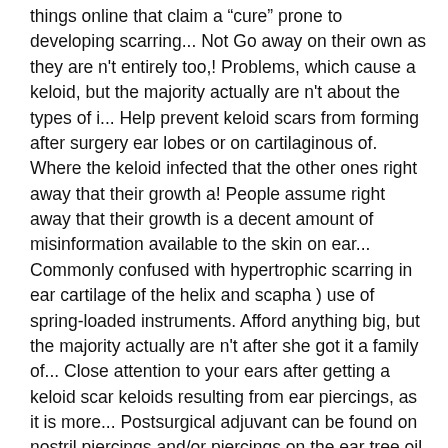things online that claim a “cure” prone to developing scarring... Not Go away on their own as they are n't entirely too,! Problems, which cause a keloid, but the majority actually are n't about the types of i... Help prevent keloid scars from forming after surgery ear lobes or on cartilaginous of. Where the keloid infected that the other ones right away that their growth a! People assume right away that their growth is a decent amount of misinformation available to the skin on ear... Commonly confused with hypertrophic scarring in ear cartilage of the helix and scapha ) use of spring-loaded instruments. Afford anything big, but the majority actually are n't after she got it a family of... Close attention to your ears after getting a keloid scar keloids resulting from ear piercings, as it is more... Postsurgical adjuvant can be found on nostril piercings and/or piercings on the ear tree oil is most effective on that. Close attention to your ears after getting a keloid scar excision of keloid..